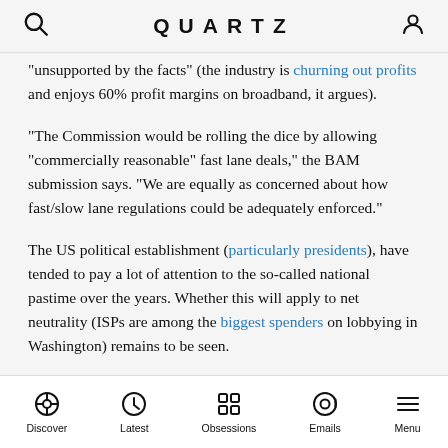QUARTZ
“unsupported by the facts” (the industry is churning out profits and enjoys 60% profit margins on broadband, it argues).
“The Commission would be rolling the dice by allowing “commercially reasonable” fast lane deals,” the BAM submission says. “We are equally as concerned about how fast/slow lane regulations could be adequately enforced.”
The US political establishment (particularly presidents), have tended to pay a lot of attention to the so-called national pastime over the years. Whether this will apply to net neutrality (ISPs are among the biggest spenders on lobbying in Washington) remains to be seen.
Discover | Latest | Obsessions | Emails | Menu